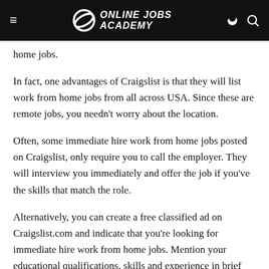ONLINE JOBS ACADEMY
home jobs.
In fact, one advantages of Craigslist is that they will list work from home jobs from all across USA. Since these are remote jobs, you needn't worry about the location.
Often, some immediate hire work from home jobs posted on Craigslist, only require you to call the employer. They will interview you immediately and offer the job if you've the skills that match the role.
Alternatively, you can create a free classified ad on Craigslist.com and indicate that you're looking for immediate hire work from home jobs. Mention your educational qualifications, skills and experience in brief